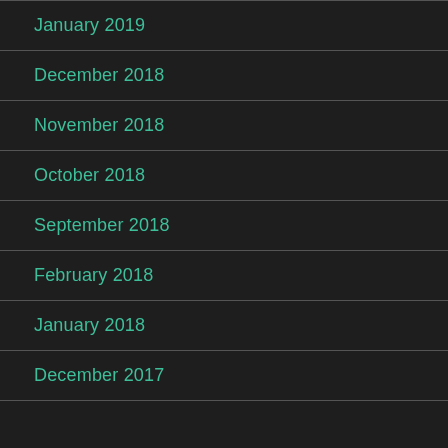January 2019
December 2018
November 2018
October 2018
September 2018
February 2018
January 2018
December 2017